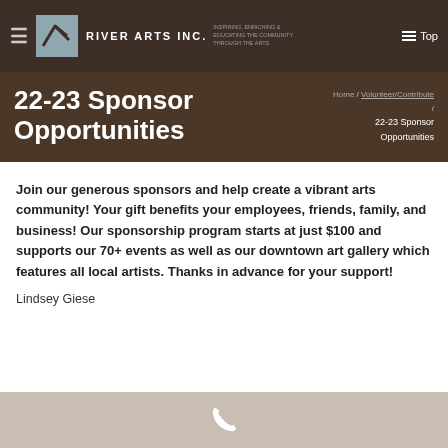RIVER ARTS INC. | Inspiring, Enriching & Educating the Community Through the Arts
22-23 Sponsor Opportunities
Home / Volunteer/Contribute / 22-23 Sponsor Opportunities
Join our generous sponsors and help create a vibrant arts community!  Your gift benefits your employees, friends, family, and business!  Our sponsorship program starts at just $100 and supports our 70+ events as well as our downtown art gallery which features all local artists.  Thanks in advance for your support!
Lindsey Giese